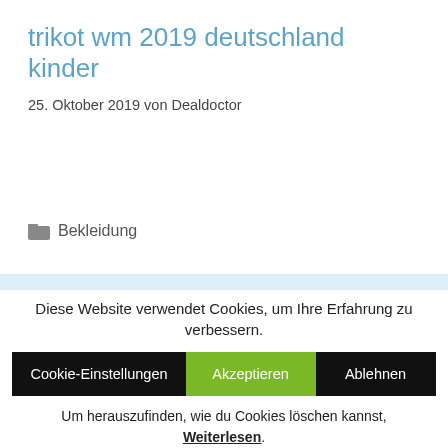trikot wm 2019 deutschland kinder
25. Oktober 2019 von Dealdoctor
Bekleidung
trikot ajax amsterdam
Diese Website verwendet Cookies, um Ihre Erfahrung zu verbessern.
Cookie-Einstellungen   Akzeptieren   Ablehnen
Um herauszufinden, wie du Cookies löschen kannst, Weiterlesen.